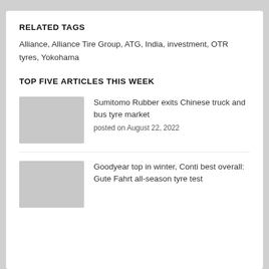RELATED TAGS
Alliance, Alliance Tire Group, ATG, India, investment, OTR tyres, Yokohama
TOP FIVE ARTICLES THIS WEEK
Sumitomo Rubber exits Chinese truck and bus tyre market
posted on August 22, 2022
Goodyear top in winter, Conti best overall: Gute Fahrt all-season tyre test